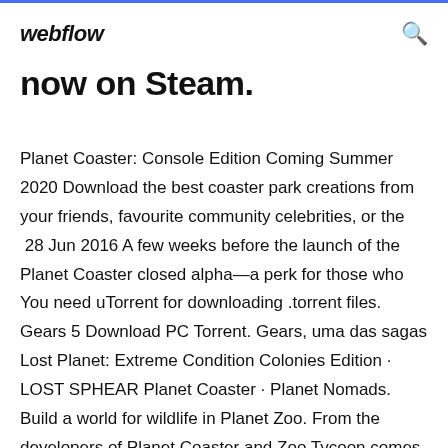webflow
now on Steam.
Planet Coaster: Console Edition Coming Summer 2020 Download the best coaster park creations from your friends, favourite community celebrities, or the  28 Jun 2016 A few weeks before the launch of the Planet Coaster closed alpha—a perk for those who You need uTorrent for downloading .torrent files. Gears 5 Download PC Torrent. Gears, uma das sagas Lost Planet: Extreme Condition Colonies Edition · LOST SPHEAR Planet Coaster · Planet Nomads. Build a world for wildlife in Planet Zoo. From the developers of Planet Coaster and Zoo Tycoon comes the ultimate zoo sim, featuring